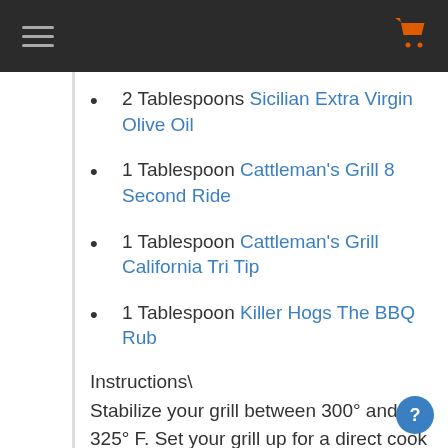Navigation bar with hamburger menu and cart icon
2 Tablespoons Sicilian Extra Virgin Olive Oil
1 Tablespoon Cattleman's Grill 8 Second Ride
1 Tablespoon Cattleman's Grill California Tri Tip
1 Tablespoon Killer Hogs The BBQ Rub
Instructions\
Stabilize your grill between 300° and 325° F. Set your grill up for a direct cook but bank your coals to